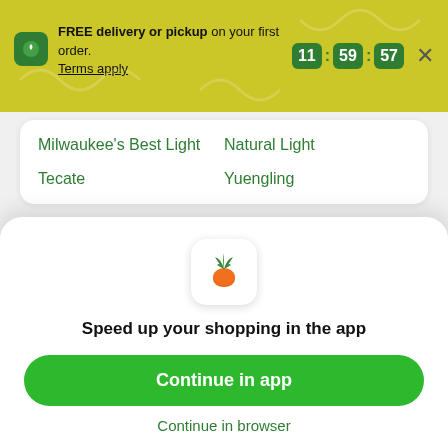FREE delivery or pickup on your first order. Terms apply. 11:59:57
Milwaukee's Best Light
Natural Light
Tecate
Yuengling
Why Instacart?
[Figure (screenshot): Instacart carrot app icon in a white rounded square]
Speed up your shopping in the app
Continue in app
Continue in browser